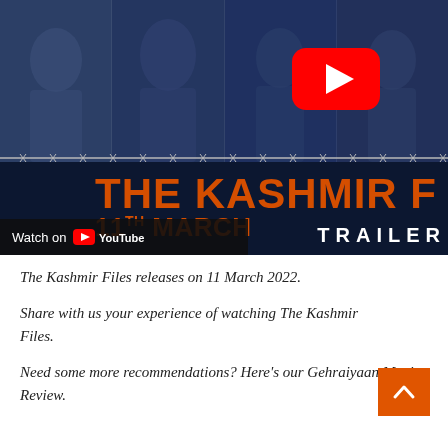[Figure (screenshot): YouTube thumbnail for 'The Kashmir Files' trailer. Shows four actor faces in dark blue panels at top, a YouTube play button logo overlaid top-right, barbed wire graphic across middle, large orange text 'THE KASHMIR F...' and '11TH MARCH', 'Watch on YouTube' bar at bottom-left, and 'TRAILER' text at bottom-right.]
The Kashmir Files releases on 11 March 2022.
Share with us your experience of watching The Kashmir Files.
Need some more recommendations? Here's our Gehraiyaan Movie Review.